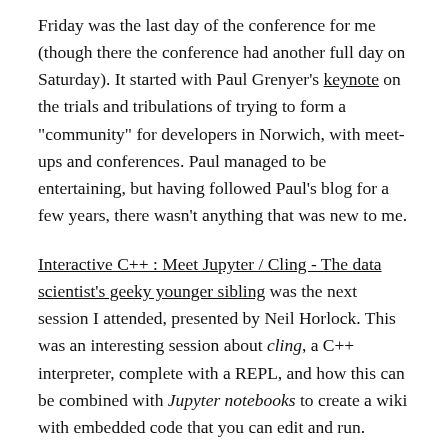Friday was the last day of the conference for me (though there the conference had another full day on Saturday). It started with Paul Grenyer's keynote on the trials and tribulations of trying to form a "community" for developers in Norwich, with meet-ups and conferences. Paul managed to be entertaining, but having followed Paul's blog for a few years, there wasn't anything that was new to me.
Interactive C++ : Meet Jupyter / Cling - The data scientist's geeky younger sibling was the next session I attended, presented by Neil Horlock. This was an interesting session about cling, a C++ interpreter, complete with a REPL, and how this can be combined with Jupyter notebooks to create a wiki with embedded code that you can edit and run. Support for various libraries allows to write code to plot graphs and maps and things, and have the